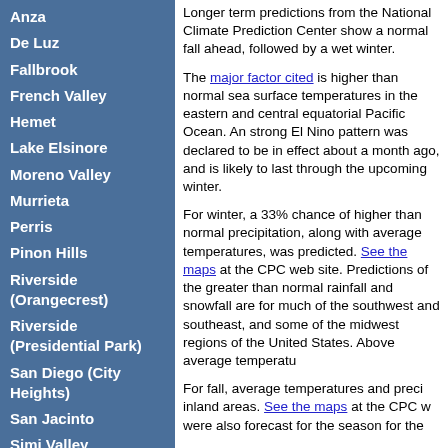Anza
De Luz
Fallbrook
French Valley
Hemet
Lake Elsinore
Moreno Valley
Murrieta
Perris
Pinon Hills
Riverside (Orangecrest)
Riverside (Presidential Park)
San Diego (City Heights)
San Jacinto
Simi Valley
Temecula
Wildomar
Longer term predictions from the National Climate Prediction Center show a normal fall ahead, followed by a wet winter.
The major factor cited is higher than normal sea surface temperatures in the eastern and central equatorial Pacific Ocean. An strong El Nino pattern was declared to be in effect about a month ago, and is likely to last through the upcoming winter.
For winter, a 33% chance of higher than normal precipitation, along with average temperatures, was predicted. See the maps at the CPC web site. Predictions of the greater than normal rainfall and snowfall are for much of the southwest and southeast, and some of the midwest regions of the United States. Above average temperatu...
For fall, average temperatures and preci... inland areas. See the maps at the CPC w... were also forecast for the season for the...